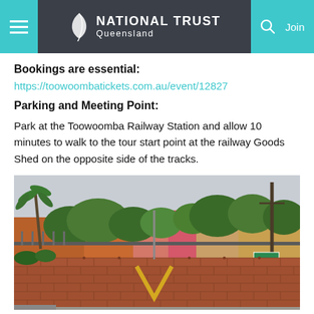NATIONAL TRUST Queensland
Bookings are essential:
https://toowoombatickets.com.au/event/12827
Parking and Meeting Point:
Park at the Toowoomba Railway Station and allow 10 minutes to walk to the tour start point at the railway Goods Shed on the opposite side of the tracks.
[Figure (photo): Exterior view of a brick wall with a yellow V marking, trees and buildings visible in the background, likely Toowoomba railway area]